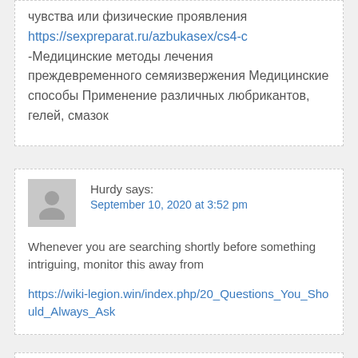чувства или физические проявления
https://sexpreparat.ru/azbukasex/cs4-c
-Медицинские методы лечения преждевременного семяизвержения Медицинские способы Применение различных любрикантов, гелей, смазок
Hurdy says:
September 10, 2020 at 3:52 pm
Whenever you are searching shortly before something intriguing, monitor this away from
https://wiki-legion.win/index.php/20_Questions_You_Should_Always_Ask